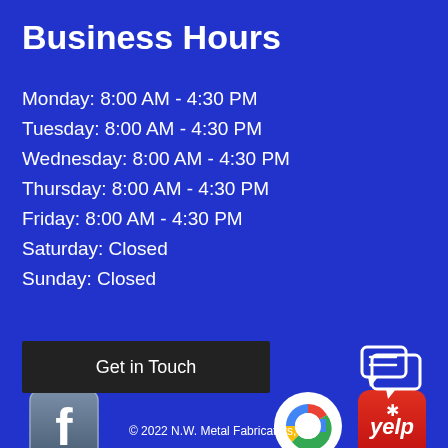Business Hours
Monday: 8:00 AM - 4:30 PM
Tuesday: 8:00 AM - 4:30 PM
Wednesday: 8:00 AM - 4:30 PM
Thursday: 8:00 AM - 4:30 PM
Friday: 8:00 AM - 4:30 PM
Saturday: Closed
Sunday: Closed
Follow us today!
[Figure (logo): Facebook logo icon]
[Figure (logo): Google logo icon]
[Figure (logo): Yelp logo icon]
Get in Touch
[Figure (illustration): Chat/message icon]
© 2022 N.W. Metal Fabricators, Inc.